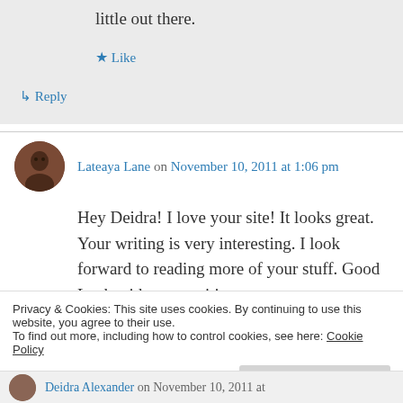little out there.
★ Like
↳ Reply
Lateaya Lane on November 10, 2011 at 1:06 pm
Hey Deidra! I love your site! It looks great. Your writing is very interesting. I look forward to reading more of your stuff. Good Luck with your writing.
Privacy & Cookies: This site uses cookies. By continuing to use this website, you agree to their use.
To find out more, including how to control cookies, see here: Cookie Policy
Close and accept
Deidra Alexander on November 10, 2011 at